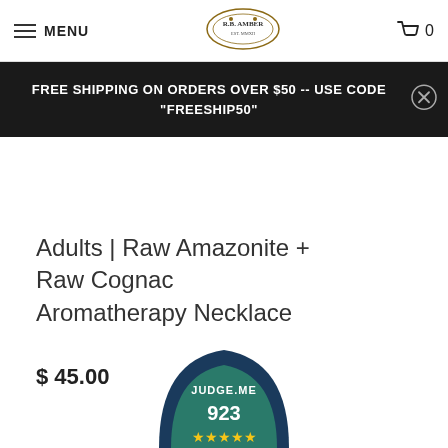MENU | R.B. AMBER (logo) | 0
FREE SHIPPING ON ORDERS OVER $50 -- USE CODE "FREESHIP50"
Adults | Raw Amazonite + Raw Cognac Aromatherapy Necklace
$ 45.00
[Figure (logo): Judge.me badge showing 923 reviews with 5 stars]